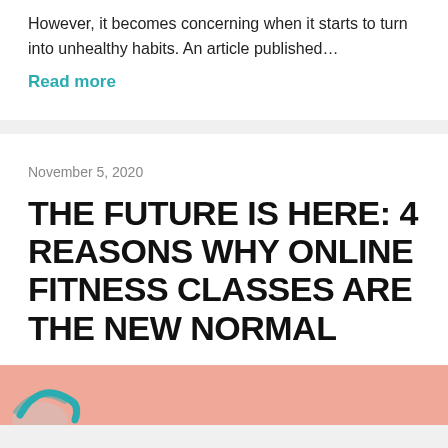However, it becomes concerning when it starts to turn into unhealthy habits.  An article published…
Read more
November 5, 2020
THE FUTURE IS HERE: 4 REASONS WHY ONLINE FITNESS CLASSES ARE THE NEW NORMAL
[Figure (photo): Pink banner image with decorative teal/turquoise graphic elements at bottom left]